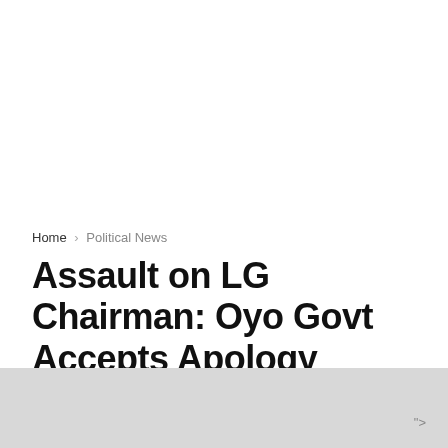Home › Political News
Assault on LG Chairman: Oyo Govt Accepts Apology Tendered By Immigration
by InsideOvo — August 20, 2021